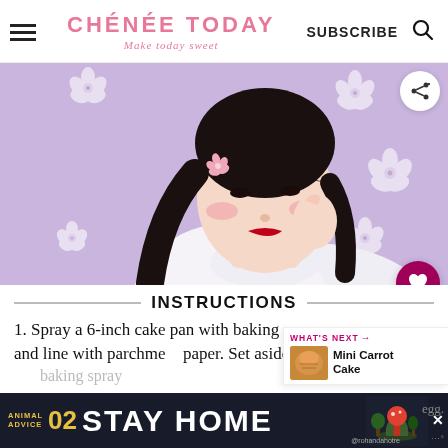CHENÉE TODAY — Make today sweet — SUBSCRIBE
[Figure (illustration): Digital illustration of a young Asian woman with dark hair, pink cherry blossom in hair, wearing a white turtleneck sweater, hand near face. Purple/lavender background with white flower motifs.]
INSTRUCTIONS
1. Spray a 6-inch cake pan with baking spray and line with parchment paper. Set aside.
baking spray
[Figure (photo): Thumbnail of Mini Carrot Cake with WHAT'S NEXT label]
WHAT'S NEXT → Mini Carrot Cake
STAY HOME — ANIMAL ADVICE 02 — @rohandahotre advertisement banner